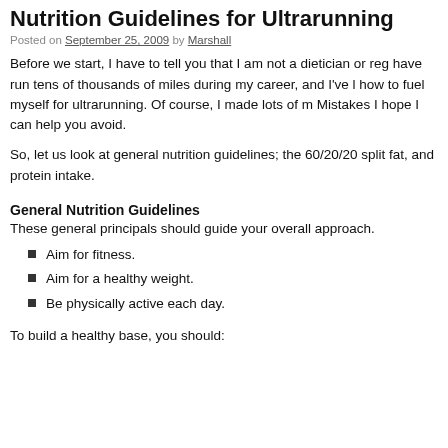Nutrition Guidelines for Ultrarunning
Posted on September 25, 2009 by Marshall
Before we start, I have to tell you that I am not a dietician or reg... have run tens of thousands of miles during my career, and I've l... how to fuel myself for ultrarunning. Of course, I made lots of m... Mistakes I hope I can help you avoid.
So, let us look at general nutrition guidelines; the 60/20/20 split... fat, and protein intake.
General Nutrition Guidelines
These general principals should guide your overall approach.
Aim for fitness.
Aim for a healthy weight.
Be physically active each day.
To build a healthy base, you should: